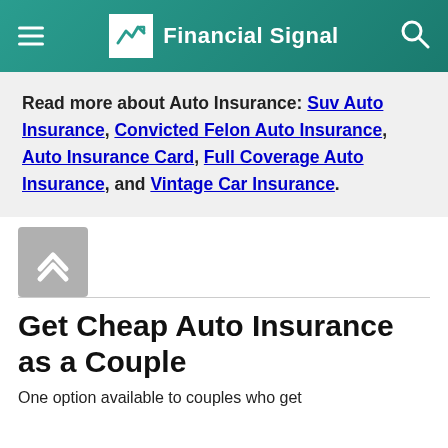Financial Signal
Read more about Auto Insurance: Suv Auto Insurance, Convicted Felon Auto Insurance, Auto Insurance Card, Full Coverage Auto Insurance, and Vintage Car Insurance.
[Figure (other): Scroll-to-top button with upward chevron arrows on grey background]
Get Cheap Auto Insurance as a Couple
One option available to couples who get